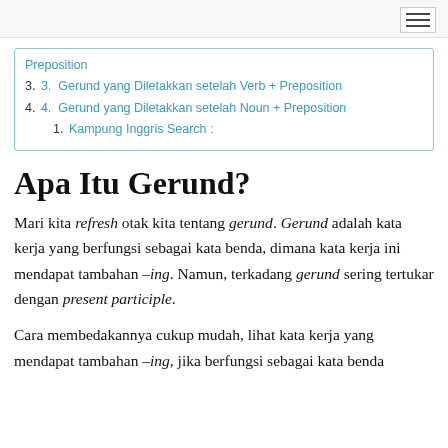Preposition
3. 3.  Gerund yang Diletakkan setelah Verb + Preposition
4. 4.  Gerund yang Diletakkan setelah Noun + Preposition
1. Kampung Inggris Search :
Apa Itu Gerund?
Mari kita refresh otak kita tentang gerund. Gerund adalah kata kerja yang berfungsi sebagai kata benda, dimana kata kerja ini mendapat tambahan –ing. Namun, terkadang gerund sering tertukar dengan present participle.
Cara membedakannya cukup mudah, lihat kata kerja yang mendapat tambahan –ing, jika berfungsi sebagai kata benda